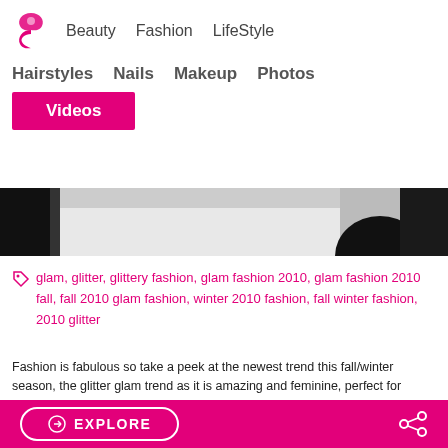Beauty  Fashion  LifeStyle
Hairstyles  Nails  Makeup  Photos
Videos
[Figure (photo): Black and white close-up photo strip showing partial view of a fashion/nails scene]
glam, glitter, glittery fashion, glam fashion 2010, glam fashion 2010 fall, fall 2010 glam fashion, winter 2010 fashion, fall winter fashion, 2010 glitter
Fashion is fabulous so take a peek at the newest trend this fall/winter season, the glitter glam trend as it is amazing and feminine, perfect for women who want to spice up their fall wardrobe! ... Read More
EXPLORE